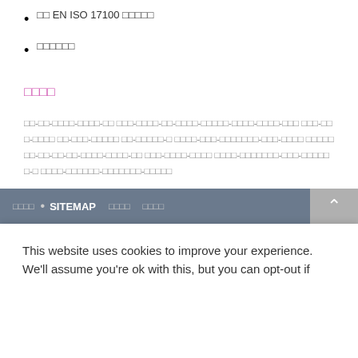□□ EN ISO 17100 □□□□□
□□□□□□
□□□□
□□-□□-□□□□-□□□□-□□ □□□-□□□□-□□-□□□□-□□□□□-□□□□-□□□□-□□□-□□□-□□□□-□□□□ □□-□□□-□□□□□□-□□□□□-□ □□□□-□□□-□□□□□□□-□□□-□□□□ □□□□□□□-□□-□□□-□□□-□□ □□□-□□□□-□□□□ □□□□-□□□□□□□-□□□-□□□□□□-□ □□□□-□□□□□□-□□□□□□□-□□□□□
□□□□ • SITEMAP □□□□ □□□□
This website uses cookies to improve your experience. We'll assume you're ok with this, but you can opt-out if